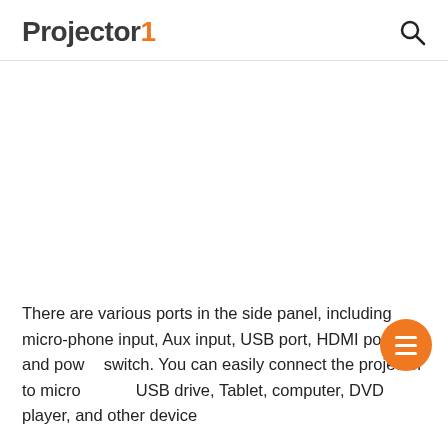Projector1
[Figure (other): Advertisement or blank image area below the site header]
There are various ports in the side panel, including microphone input, Aux input, USB port, HDMI port, and power switch. You can easily connect the projector to microphone, USB drive, Tablet, computer, DVD player, and other devices